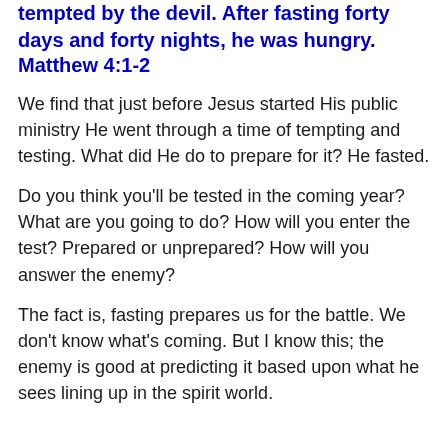tempted by the devil.  After fasting forty days and forty nights, he was hungry.
Matthew 4:1-2
We find that just before Jesus started His public ministry He went through a time of tempting and testing.  What did He do to prepare for it?  He fasted.
Do you think you'll be tested in the coming year?  What are you going to do?  How will you enter the test?  Prepared or unprepared?  How will you answer the enemy?
The fact is, fasting prepares us for the battle.  We don't know what's coming.  But I know this; the enemy is good at predicting it based upon what he sees lining up in the spirit world.